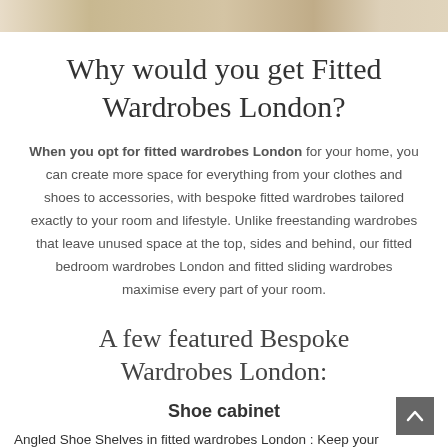[Figure (photo): Top strip of a fitted wardrobe interior photo showing beige/cream cabinet panels]
Why would you get Fitted Wardrobes London?
When you opt for fitted wardrobes London for your home, you can create more space for everything from your clothes and shoes to accessories, with bespoke fitted wardrobes tailored exactly to your room and lifestyle. Unlike freestanding wardrobes that leave unused space at the top, sides and behind, our fitted bedroom wardrobes London and fitted sliding wardrobes maximise every part of your room.
A few featured Bespoke Wardrobes London:
Shoe cabinet
Angled Shoe Shelves in fitted wardrobes London : Keep your footwear tidy and protected.